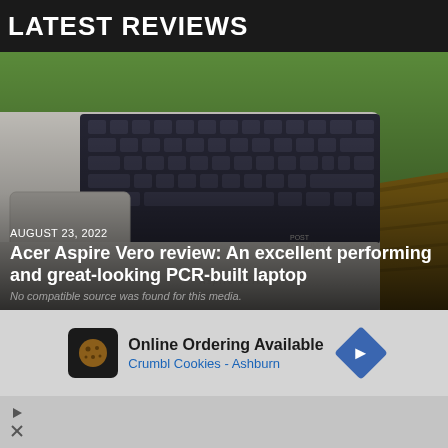LATEST REVIEWS
[Figure (photo): Close-up photo of an Acer Aspire Vero laptop on a wooden surface outdoors, showing keyboard, trackpad, and the Post Consumer Recycled logo embossed on the palm rest, with green foliage in background.]
AUGUST 23, 2022
Acer Aspire Vero review: An excellent performing and great-looking PCR-built laptop
No compatible source was found for this media.
[Figure (screenshot): Advertisement banner: Online Ordering Available - Crumbl Cookies - Ashburn, with cookie icon on left and blue navigation arrow on right.]